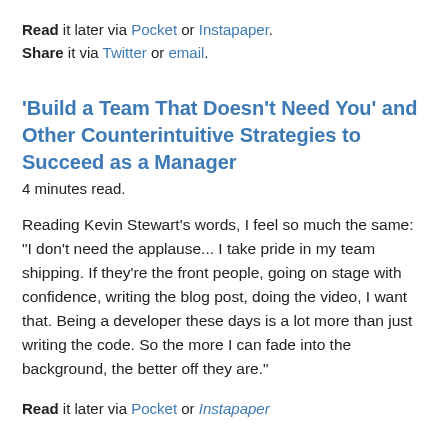Read it later via Pocket or Instapaper. Share it via Twitter or email.
'Build a Team That Doesn't Need You' and Other Counterintuitive Strategies to Succeed as a Manager
4 minutes read.
Reading Kevin Stewart's words, I feel so much the same: "I don't need the applause... I take pride in my team shipping. If they're the front people, going on stage with confidence, writing the blog post, doing the video, I want that. Being a developer these days is a lot more than just writing the code. So the more I can fade into the background, the better off they are."
Read it later via Pocket or Instapaper.